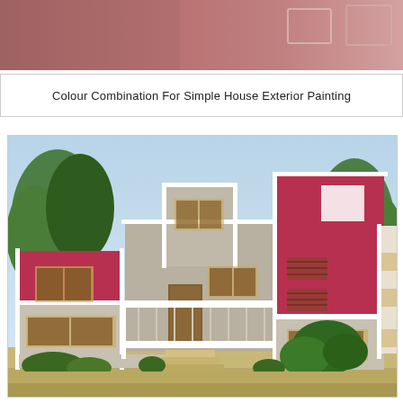[Figure (photo): Top strip showing a partial view of a house exterior with rose/mauve colored wall and decorative square window frames on the right side]
Colour Combination For Simple House Exterior Painting
[Figure (photo): Photograph of a modern Indian house exterior featuring a colour combination of crimson/red and light grey/beige walls with white trims, wooden window frames, steps leading to entrance, and surrounding greenery including trees and shrubs]